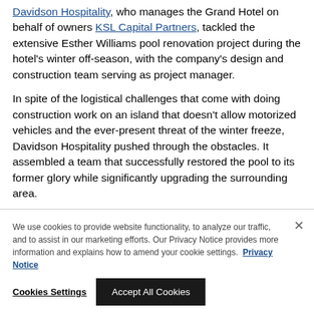Davidson Hospitality, who manages the Grand Hotel on behalf of owners KSL Capital Partners, tackled the extensive Esther Williams pool renovation project during the hotel's winter off-season, with the company's design and construction team serving as project manager.
In spite of the logistical challenges that come with doing construction work on an island that doesn't allow motorized vehicles and the ever-present threat of the winter freeze, Davidson Hospitality pushed through the obstacles. It assembled a team that successfully restored the pool to its former glory while significantly upgrading the surrounding area.
A Long, Hard Winter
Michigan winters are notoriously bitter. It's particularly the case in
We use cookies to provide website functionality, to analyze our traffic, and to assist in our marketing efforts. Our Privacy Notice provides more information and explains how to amend your cookie settings. Privacy Notice